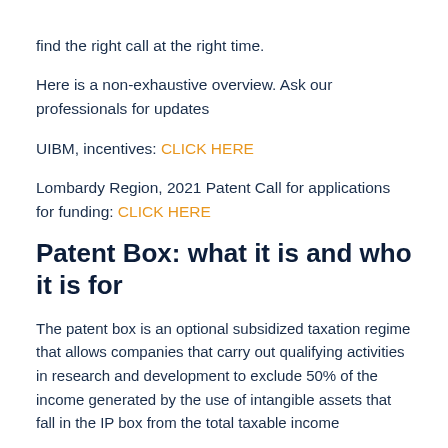find the right call at the right time.
Here is a non-exhaustive overview. Ask our professionals for updates
UIBM, incentives: CLICK HERE
Lombardy Region, 2021 Patent Call for applications for funding: CLICK HERE
Patent Box: what it is and who it is for
The patent box is an optional subsidized taxation regime that allows companies that carry out qualifying activities in research and development to exclude 50% of the income generated by the use of intangible assets that fall in the IP box from the total taxable income